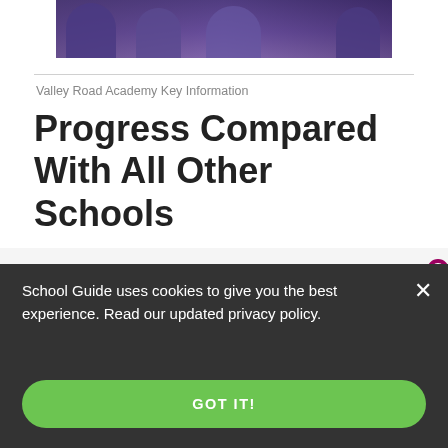[Figure (photo): Partial photo of students in purple uniforms, cropped at top of page]
Valley Road Academy Key Information
Progress Compared With All Other Schools
[Figure (line-chart): Partially visible upward-trending line chart with dark pink/magenta line and circular markers, overlaid with orange UNLOCK button]
UNLOCK
School Guide uses cookies to give you the best experience. Read our updated privacy policy.
GOT IT!